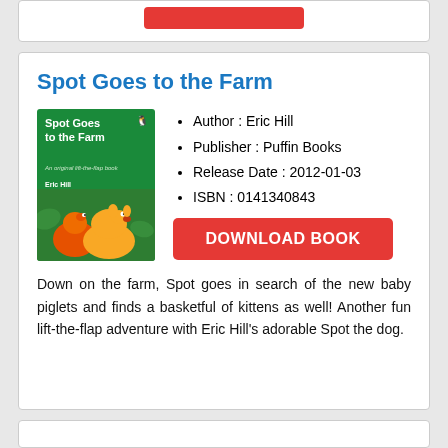Spot Goes to the Farm
Author : Eric Hill
Publisher : Puffin Books
Release Date : 2012-01-03
ISBN : 0141340843
DOWNLOAD BOOK
Down on the farm, Spot goes in search of the new baby piglets and finds a basketful of kittens as well! Another fun lift-the-flap adventure with Eric Hill's adorable Spot the dog.